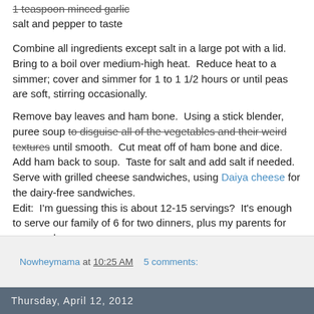1 teaspoon minced garlic
salt and pepper to taste
Combine all ingredients except salt in a large pot with a lid.  Bring to a boil over medium-high heat.  Reduce heat to a simmer; cover and simmer for 1 to 1 1/2 hours or until peas are soft, stirring occasionally.
Remove bay leaves and ham bone.  Using a stick blender, puree soup to disguise all of the vegetables and their weird textures until smooth.  Cut meat off of ham bone and dice.  Add ham back to soup.  Taste for salt and add salt if needed.  Serve with grilled cheese sandwiches, using Daiya cheese for the dairy-free sandwiches.
Edit:  I'm guessing this is about 12-15 servings?  It's enough to serve our family of 6 for two dinners, plus my parents for one meal.
Nowheymama at 10:25 AM    5 comments:
Thursday, April 12, 2012